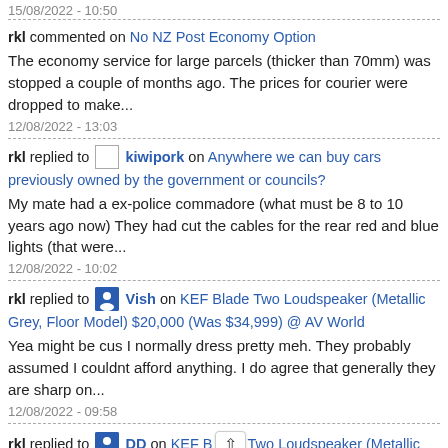15/08/2022 - 10:50
rkl commented on No NZ Post Economy Option
The economy service for large parcels (thicker than 70mm) was stopped a couple of months ago. The prices for courier were dropped to make...
12/08/2022 - 13:03
rkl replied to [avatar] kiwipork on Anywhere we can buy cars previously owned by the government or councils?
My mate had a ex-police commadore (what must be 8 to 10 years ago now) They had cut the cables for the rear red and blue lights (that were...
12/08/2022 - 10:02
rkl replied to [avatar] Vish on KEF Blade Two Loudspeaker (Metallic Grey, Floor Model) $20,000 (Was $34,999) @ AV World
Yea might be cus I normally dress pretty meh. They probably assumed I couldnt afford anything. I do agree that generally they are sharp on...
12/08/2022 - 09:58
rkl replied to [avatar] DD on KEF Blade Two Loudspeaker (Metallic Grey, Floor Model) $20,000 (Was $34,999) @ AV World